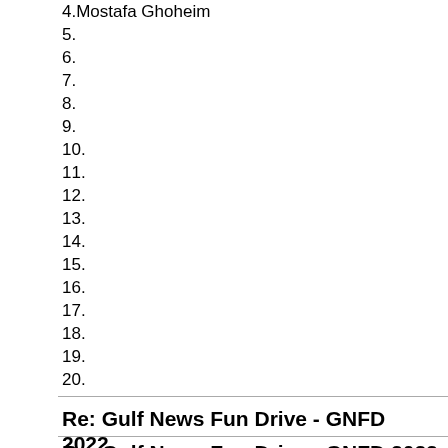4.Mostafa Ghoheim
5.
6.
7.
8.
9.
10.
11.
12.
13.
14.
15.
16.
17.
18.
19.
20.
Re: Gulf News Fun Drive - GNFD 2022
by Mohanad   Posted: Mon Feb 21, 2022 12:24 pm
Registration now is closed
Re: Gulf News Fun Drive - GNFD 2022